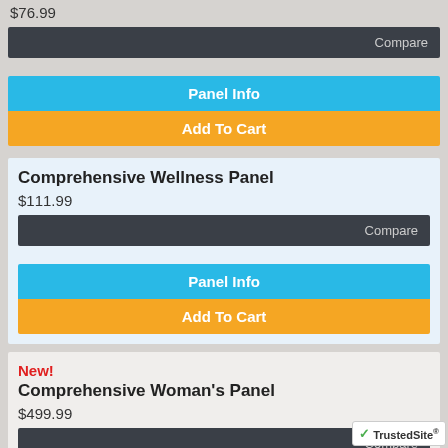$76.99
Compare
Panel Info
Add To Cart
Comprehensive Wellness Panel
$111.99
Compare
Panel Info
Add To Cart
New!
Comprehensive Woman's Panel
$499.99
Compare
Panel Info
Add To Cart